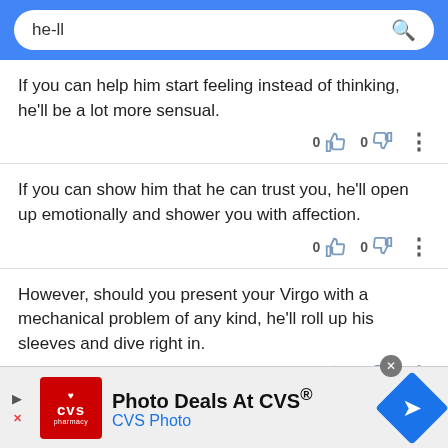he-ll [search bar]
If you can help him start feeling instead of thinking, he'll be a lot more sensual.
If you can show him that he can trust you, he'll open up emotionally and shower you with affection.
However, should you present your Virgo with a mechanical problem of any kind, he'll roll up his sleeves and dive right in.
Photo Deals At CVS® CVS Photo [advertisement]